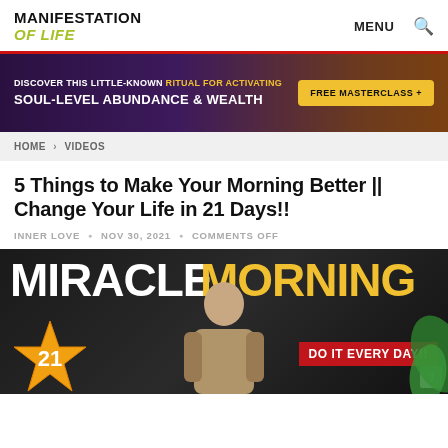MANIFESTATION OF LIFE  MENU 🔍
[Figure (illustration): Dark purple/brown banner ad: 'DISCOVER THIS LITTLE-KNOWN RITUAL FOR ACTIVATING SOUL-LEVEL ABUNDANCE & WEALTH' with yellow 'FREE MASTERCLASS +' button]
HOME > VIDEOS
5 Things to Make Your Morning Better || Change Your Life in 21 Days!!
INNER LOVE • NOV 30, 2021 • COMMENTS OFF
[Figure (photo): Thumbnail image for a video: large white text 'MIRACLE' and yellow text 'MORNING' on dark background; man in center; orange starburst with '21'; red banner 'DO IT EVERY DAY!!']